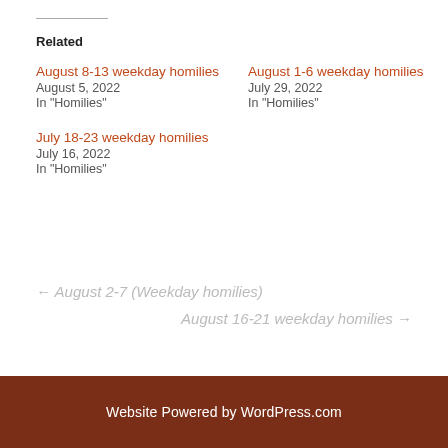Related
August 8-13 weekday homilies
August 5, 2022
In "Homilies"
August 1-6 weekday homilies
July 29, 2022
In "Homilies"
July 18-23 weekday homilies
July 16, 2022
In "Homilies"
← August 2-7 (Weekday homilies)
August 16-21 weekday homilies →
Website Powered by WordPress.com